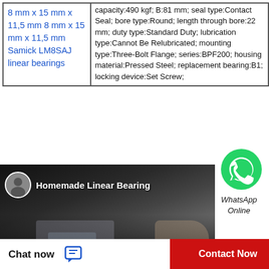| 8 mm x 15 mm x 11,5 mm 8 mm x 15 mm x 11,5 mm Samick LM8SAJ linear bearings | capacity:490 kgf; B:81 mm; seal type:Contact Seal; bore type:Round; length through bore:22 mm; duty type:Standard Duty; lubrication type:Cannot Be Relubricated; mounting type:Three-Bolt Flange; series:BPF200; housing material:Pressed Steel; replacement bearing:B1; locking device:Set Screw; |
[Figure (logo): WhatsApp green circle logo icon]
WhatsApp Online
[Figure (screenshot): YouTube video thumbnail titled 'Homemade Linear Bearing' with dark background showing machinery and a person avatar icon]
Chat now
Contact Now